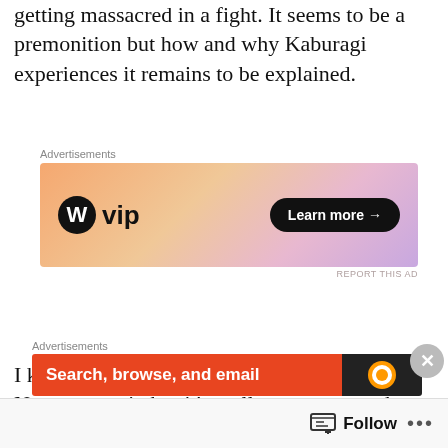getting massacred in a fight. It seems to be a premonition but how and why Kaburagi experiences it remains to be explained.
[Figure (screenshot): WordPress VIP advertisement banner with orange-pink gradient background, WordPress logo with 'vip' text on the left, and a 'Learn more →' button on a dark background on the right.]
Advertisements
REPORT THIS AD
I know Kaburagi logs into Deca-Dence to see Natsume again but it's reallyvague as to what he plans do beyond that. Will he tell his pupil the truth about Deca-Dence? Will he tell anyone else? It's entirely possible he'll just resume life as usual but that would just bring the story back to square one. It's also mentioned that Kaburagi will need to assume a new Avatar to avoid detection from Solid Quake and I can't help but imagine next episode a comedic
Advertisements
[Figure (screenshot): Dark advertisement banner with orange/red section and duck duck go logo, text reading 'Search, browse, and email']
Follow  •••